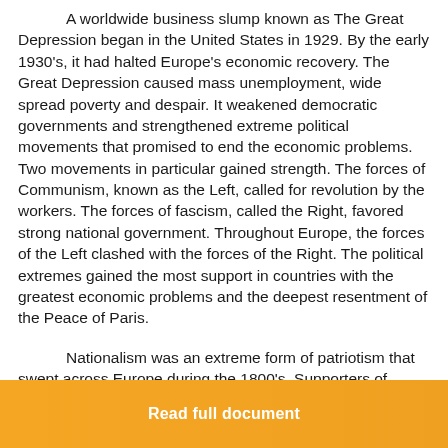A worldwide business slump known as The Great Depression began in the United States in 1929. By the early 1930's, it had halted Europe's economic recovery. The Great Depression caused mass unemployment, wide spread poverty and despair. It weakened democratic governments and strengthened extreme political movements that promised to end the economic problems. Two movements in particular gained strength. The forces of Communism, known as the Left, called for revolution by the workers. The forces of fascism, called the Right, favored strong national government. Throughout Europe, the forces of the Left clashed with the forces of the Right. The political extremes gained the most support in countries with the greatest economic problems and the deepest resentment of the Peace of Paris.
Nationalism was an extreme form of patriotism that swept across Europe during the 1800's. Supporters of nationalism placed loyalty to the aims of their nation...
Read full document